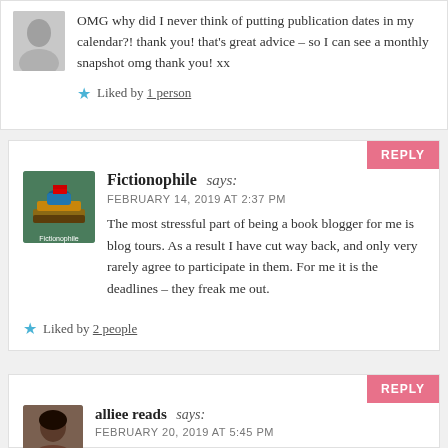OMG why did I never think of putting publication dates in my calendar?! thank you! that's great advice – so I can see a monthly snapshot omg thank you! xx
Liked by 1 person
Fictionophile says:
FEBRUARY 14, 2019 AT 2:37 PM
The most stressful part of being a book blogger for me is blog tours. As a result I have cut way back, and only very rarely agree to participate in them. For me it is the deadlines – they freak me out.
Liked by 2 people
alliee reads says:
FEBRUARY 20, 2019 AT 5:45 PM